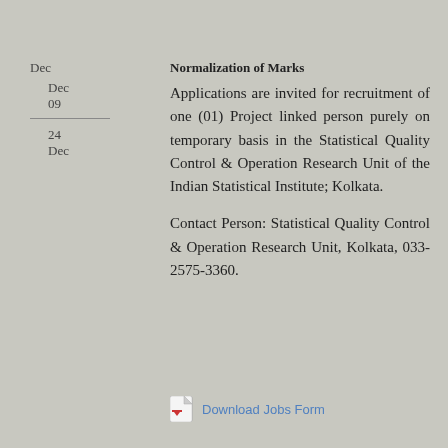Dec
Dec
09
24
Dec
Normalization of Marks
Applications are invited for recruitment of one (01) Project linked person purely on temporary basis in the Statistical Quality Control & Operation Research Unit of the Indian Statistical Institute; Kolkata.
Contact Person: Statistical Quality Control & Operation Research Unit, Kolkata, 033-2575-3360.
Download Jobs Form